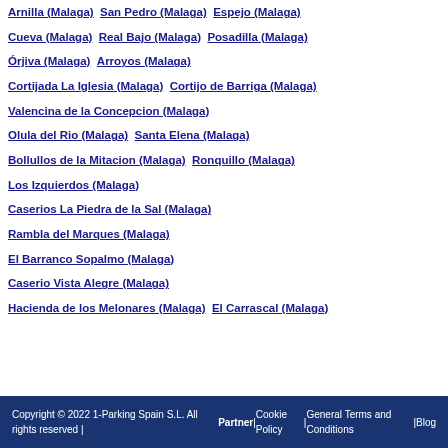Arnilla (Malaga)   San Pedro (Malaga)   Espejo (Malaga)
Cueva (Malaga)   Real Bajo (Malaga)   Posadilla (Malaga)
Órjiva (Malaga)   Arroyos (Malaga)
Cortijada La Iglesia (Malaga)   Cortijo de Barriga (Malaga)
Valencina de la Concepcion (Malaga)
Olula del Rio (Malaga)   Santa Elena (Malaga)
Bollullos de la Mitacion (Malaga)   Ronquillo (Malaga)
Los Izquierdos (Malaga)
Caserios La Piedra de la Sal (Malaga)
Rambla del Marques (Malaga)
El Barranco Sopalmo (Malaga)
Caserio Vista Alegre (Malaga)
Hacienda de los Melonares (Malaga)   El Carrascal (Malaga)
Copyright © 2022 1-Parking Spain S.L. All rights reserved | Partner | Cookie Policy | General Terms and Conditions | Blog